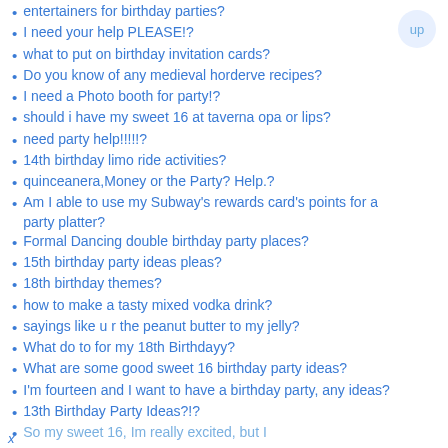entertainers for birthday parties?
I need your help PLEASE!?
what to put on birthday invitation cards?
Do you know of any medieval horderve recipes?
I need a Photo booth for party!?
should i have my sweet 16 at taverna opa or lips?
need party help!!!!!?
14th birthday limo ride activities?
quinceanera,Money or the Party? Help.?
Am I able to use my Subway's rewards card's points for a party platter?
Formal Dancing double birthday party places?
15th birthday party ideas pleas?
18th birthday themes?
how to make a tasty mixed vodka drink?
sayings like u r the peanut butter to my jelly?
What do to for my 18th Birthdayy?
What are some good sweet 16 birthday party ideas?
I'm fourteen and I want to have a birthday party, any ideas?
13th Birthday Party Ideas?!?
So my sweet 16, Im really excited, but I
x